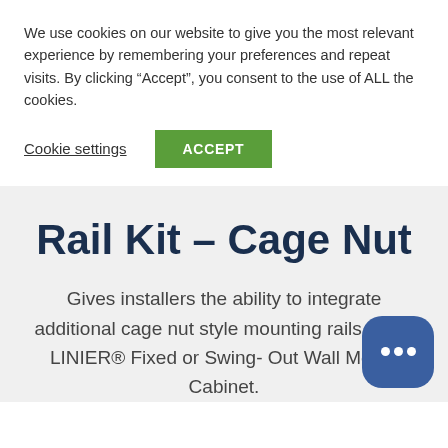We use cookies on our website to give you the most relevant experience by remembering your preferences and repeat visits. By clicking “Accept”, you consent to the use of ALL the cookies.
Cookie settings
ACCEPT
Rail Kit – Cage Nut
Gives installers the ability to integrate additional cage nut style mounting rails into a LINIER® Fixed or Swing- Out Wall Mount Cabinet.